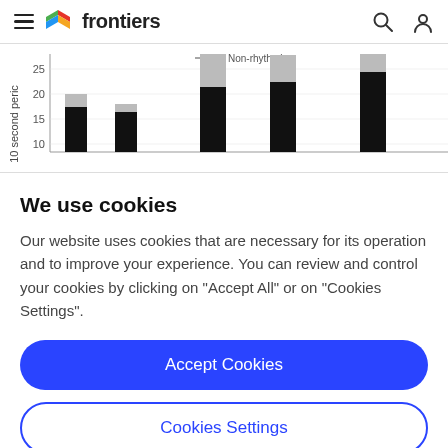frontiers
[Figure (stacked-bar-chart): Partial stacked bar chart visible, showing bars with black (bottom) and gray (top) segments. Y-axis label: '10 second peric', Y-axis values: 10, 15, 20, 25. Legend entry: 'Non-rhythmic'. Six bars visible at varying heights.]
We use cookies
Our website uses cookies that are necessary for its operation and to improve your experience. You can review and control your cookies by clicking on "Accept All" or on "Cookies Settings".
Accept Cookies
Cookies Settings